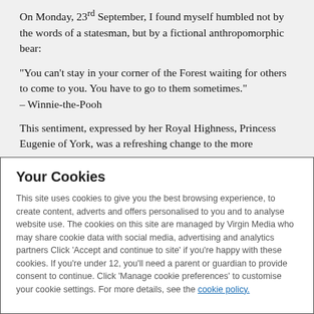On Monday, 23rd September, I found myself humbled not by the words of a statesman, but by a fictional anthropomorphic bear:
“You can’t stay in your corner of the Forest waiting for others to come to you. You have to go to them sometimes.” – Winnie-the-Pooh
This sentiment, expressed by her Royal Highness, Princess Eugenie of York, was a refreshing change to the more
Your Cookies
This site uses cookies to give you the best browsing experience, to create content, adverts and offers personalised to you and to analyse website use. The cookies on this site are managed by Virgin Media who may share cookie data with social media, advertising and analytics partners Click ‘Accept and continue to site’ if you’re happy with these cookies. If you’re under 12, you’ll need a parent or guardian to provide consent to continue. Click ‘Manage cookie preferences’ to customise your cookie settings. For more details, see the cookie policy.